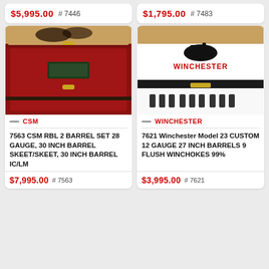$5,995.00  # 7446
$1,795.00  # 7483
[Figure (photo): CSM gun case with red interior containing double-barrel shotgun, with golden plaque]
CSM
7563 CSM RBL 2 BARREL SET 28 GAUGE, 30 INCH BARREL SKEET/SKEET, 30 INCH BARREL IC/LM
$7,995.00  # 7563
[Figure (photo): Winchester gun case with white interior showing Winchester logo with horse and rider, with chokes]
WINCHESTER
7621 Winchester Model 23 CUSTOM 12 GAUGE 27 INCH BARRELS 9 FLUSH WINCHOKES 99%
$3,995.00  # 7621